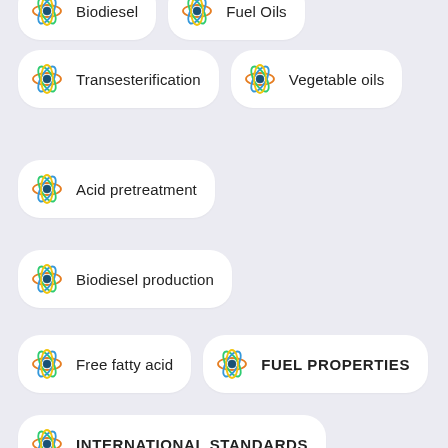Biodiesel
Fuel Oils
Transesterification
Vegetable oils
Acid pretreatment
Biodiesel production
Free fatty acid
FUEL PROPERTIES
INTERNATIONAL STANDARDS
PRE-TREATMENT